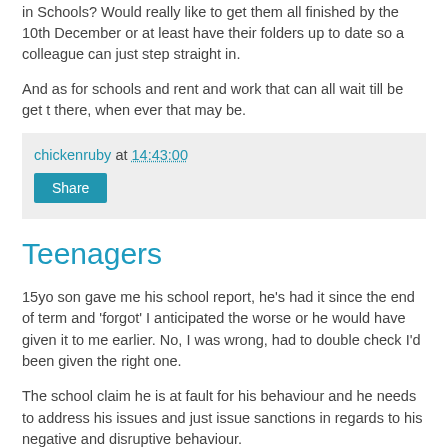in Schools? Would really like to get them all finished by the 10th December or at least have their folders up to date so a colleague can just step straight in.
And as for schools and rent and work that can all wait till be get t there, when ever that may be.
chickenruby at 14:43:00
Share
Teenagers
15yo son gave me his school report, he's had it since the end of term and 'forgot' I anticipated the worse or he would have given it to me earlier. No, I was wrong, had to double check I'd been given the right one.
The school claim he is at fault for his behaviour and he needs to address his issues and just issue sanctions in regards to his negative and disruptive behaviour.